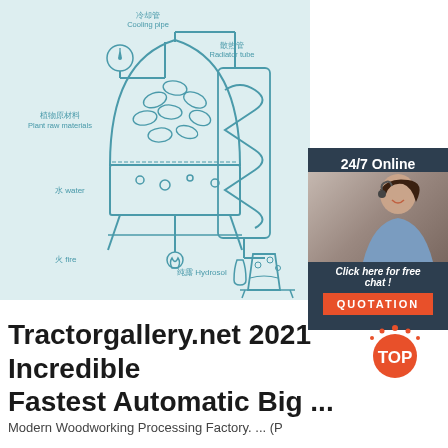[Figure (schematic): Distillation apparatus schematic with Chinese and English labels: 冷却管 Cooling pipe, 散热管 Radiator tube, 植物原材料 Plant raw materials, 水 water, 火 fire, 纯露 Hydrosol. Shows a pot still with cooling coil and collection vessel.]
[Figure (photo): Customer service representative with headset, smiling, with dark background. Overlay shows 24/7 Online, Click here for free chat!, and QUOTATION button in orange.]
Tractorgallery.net 2021 Incredible Fastest Automatic Big ...
Modern Woodworking Processing Factory. ... (P